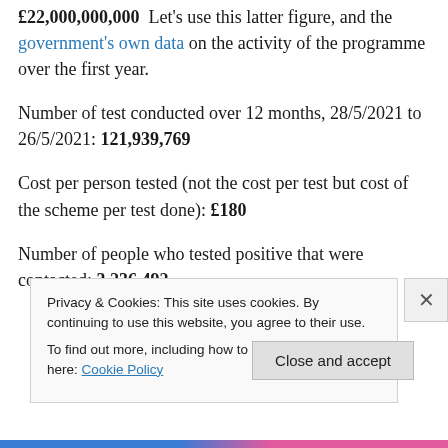£22,000,000,000  Let's use this latter figure, and the government's own data on the activity of the programme over the first year.
Number of test conducted over 12 months, 28/5/2021 to 26/5/2021: 121,939,769
Cost per person tested (not the cost per test but cost of the scheme per test done): £180
Number of people who tested positive that were contacted: 3,236,492
Privacy & Cookies: This site uses cookies. By continuing to use this website, you agree to their use. To find out more, including how to control cookies, see here: Cookie Policy